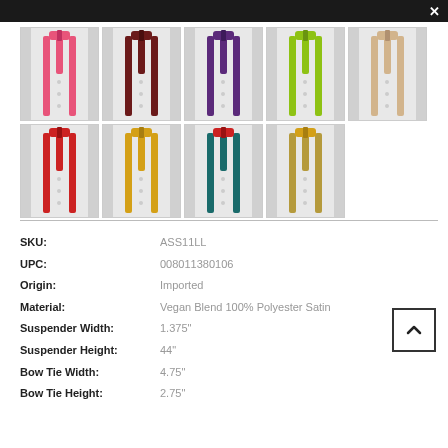[Figure (photo): Product image gallery showing 9 suspender and bow tie sets in different colors: pink/red, dark red/maroon, purple, lime green, beige/tan, red, gold/yellow, teal/dark green, and gold/olive.]
| Attribute | Value |
| --- | --- |
| SKU: | ASS11LL |
| UPC: | 008011380106 |
| Origin: | Imported |
| Material: | Vegan Blend 100% Polyester Satin |
| Suspender Width: | 1.375" |
| Suspender Height: | 44" |
| Bow Tie Width: | 4.75" |
| Bow Tie Height: | 2.75" |